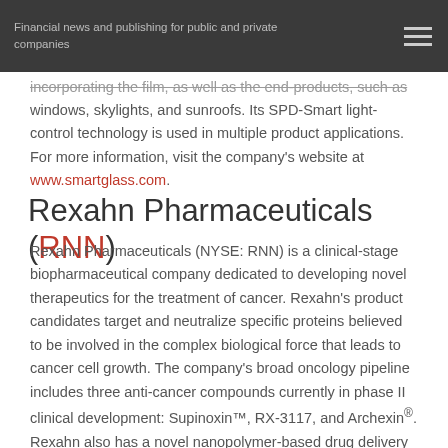Financial news and publishing for public and private companies
incorporating the film, as well as the end-products, such as windows, skylights, and sunroofs. Its SPD-Smart light-control technology is used in multiple product applications. For more information, visit the company's website at www.smartglass.com.
Rexahn Pharmaceuticals (RNN)
Rexahn Pharmaceuticals (NYSE: RNN) is a clinical-stage biopharmaceutical company dedicated to developing novel therapeutics for the treatment of cancer. Rexahn's product candidates target and neutralize specific proteins believed to be involved in the complex biological force that leads to cancer cell growth. The company's broad oncology pipeline includes three anti-cancer compounds currently in phase II clinical development: Supinoxin™, RX-3117, and Archexin®. Rexahn also has a novel nanopolymer-based drug delivery platform technology that may increase the bio-availability of FDA-approved chemotherapies. For more information, visit the